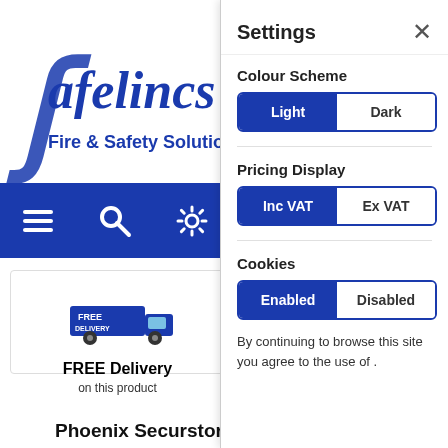[Figure (screenshot): Safelincs Fire & Safety Solutions website logo with stylized S and company name in dark blue]
[Figure (screenshot): Blue navigation bar with hamburger menu, search, and settings icons]
[Figure (screenshot): Free delivery badge showing blue delivery truck with FREE DELIVERY text]
FREE Delivery
on this product
Phoenix Securstore 1164
[Figure (screenshot): Phoenix Securstore safe product image, light grey tall cabinet safe]
Settings
Colour Scheme
Light | Dark
Pricing Display
Inc VAT | Ex VAT
Cookies
Enabled | Disabled
By continuing to browse this site you agree to the use of .